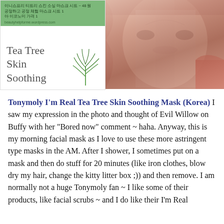[Figure (photo): Left: Product image of Tonymoly Tea Tree Skin Soothing mask with green background, Korean text, beautyhelpforme.wordpress.com URL, and tea tree plant illustration. Right: Photo of a woman wearing a sheet face mask.]
Tonymoly I'm Real Tea Tree Skin Soothing Mask (Korea) I saw my expression in the photo and thought of Evil Willow on Buffy with her "Bored now" comment ~ haha. Anyway, this is my morning facial mask as I love to use these more astringent type masks in the AM. After I shower, I sometimes put on a mask and then do stuff for 20 minutes (like iron clothes, blow dry my hair, change the kitty litter box ;)) and then remove. I am normally not a huge Tonymoly fan ~ I like some of their products, like facial scrubs ~ and I do like their I'm Real